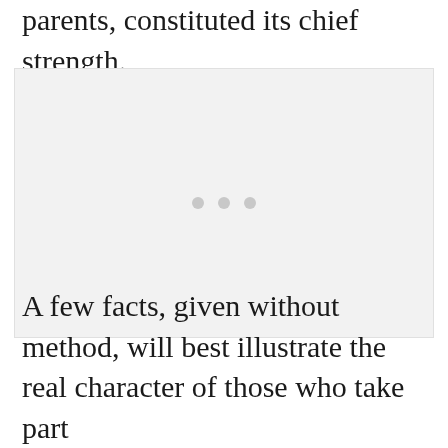parents, constituted its chief strength.
[Figure (other): A light gray placeholder image box with three small gray dots centered in the middle, representing a loading or placeholder figure.]
A few facts, given without method, will best illustrate the real character of those who take part